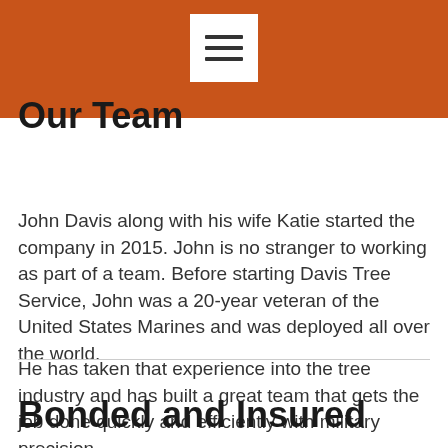Our Team
John Davis along with his wife Katie started the company in 2015. John is no stranger to working as part of a team. Before starting Davis Tree Service, John was a 20-year veteran of the United States Marines and was deployed all over the world.
He has taken that experience into the tree industry and has built a great team that gets the job done quickly and efficiently with military precision.
Bonded and Insured